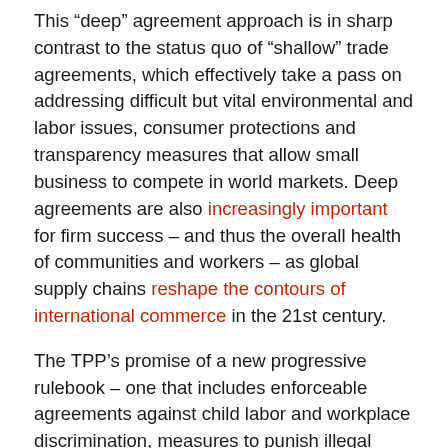This “deep” agreement approach is in sharp contrast to the status quo of “shallow” trade agreements, which effectively take a pass on addressing difficult but vital environmental and labor issues, consumer protections and transparency measures that allow small business to compete in world markets. Deep agreements are also increasingly important for firm success – and thus the overall health of communities and workers – as global supply chains reshape the contours of international commerce in the 21st century.
The TPP’s promise of a new progressive rulebook – one that includes enforceable agreements against child labor and workplace discrimination, measures to punish illegal logging and trade in protected species, and protections against consumer fraud – would mark a substantial step forward in the progressive policy agenda on the global stage.